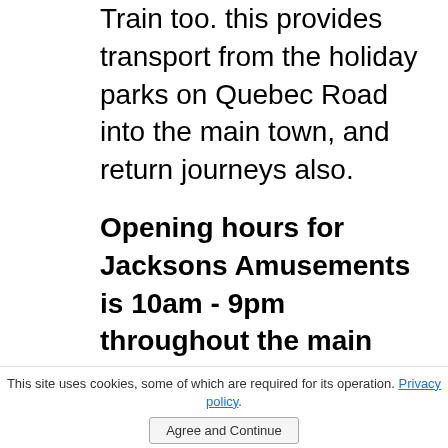Train too. this provides transport from the holiday parks on Quebec Road into the main town, and return journeys also.

Opening hours for Jacksons Amusements is 10am - 9pm throughout the main season, with changes to this schedule being made during the shoulder and winter months. Check their Facebook page for all current
This site uses cookies, some of which are required for its operation. Privacy policy.
Agree and Continue